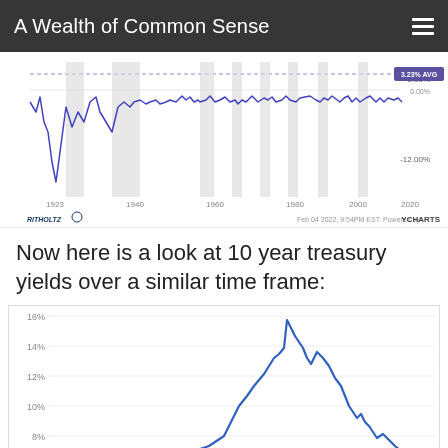A Wealth of Common Sense
[Figure (continuous-plot): Line chart showing stock market annual returns from 1923 to 2020, with gray recession bands. A dashed horizontal line marks the 3.23% AVG. Blue line fluctuates, dipping sharply in early periods and hovering near 0% in recent times. X-axis: 1923, 1940, 1960, 1980, 2000, 2020. Y-axis labels visible: 0.00%, -12.00%. Labeled: 3.23% AVG, 0.00%. Source: Ritholtz, Feb 04 2022 9:54PM EST, Powered by YCharts.]
Now here is a look at 10 year treasury yields over a similar time frame:
[Figure (continuous-plot): Line chart showing 10-year treasury yields over time. Y-axis shows 8%, 10%, 12%, 14%, 16%. A prominent blue peak rises to about 15-16% around 1980-1981, then declines steadily. The chart is cropped at the bottom.]
[Figure (continuous-plot): Partial bottom of a line chart showing a light blue line near the lower portion of the page. A close/dismiss button (X circle) is visible in the lower right.]